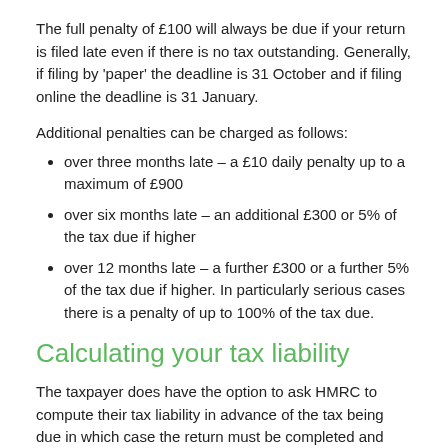The full penalty of £100 will always be due if your return is filed late even if there is no tax outstanding. Generally, if filing by 'paper' the deadline is 31 October and if filing online the deadline is 31 January.
Additional penalties can be charged as follows:
over three months late – a £10 daily penalty up to a maximum of £900
over six months late – an additional £300 or 5% of the tax due if higher
over 12 months late – a further £300 or a further 5% of the tax due if higher. In particularly serious cases there is a penalty of up to 100% of the tax due.
Calculating your tax liability
The taxpayer does have the option to ask HMRC to compute their tax liability in advance of the tax being due in which case the return must be completed and filed by 31 October following the fiscal year.
Whether you or HMRC calculate the tax liability there will be